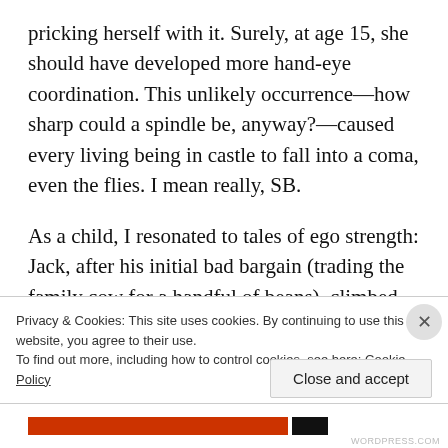pricking herself with it. Surely, at age 15, she should have developed more hand-eye coordination. This unlikely occurrence—how sharp could a spindle be, anyway?—caused every living being in castle to fall into a coma, even the flies. I mean really, SB.
As a child, I resonated to tales of ego strength: Jack, after his initial bad bargain (trading the family cow for a handful of beans), climbed the
Privacy & Cookies: This site uses cookies. By continuing to use this website, you agree to their use.
To find out more, including how to control cookies, see here: Cookie Policy
Close and accept